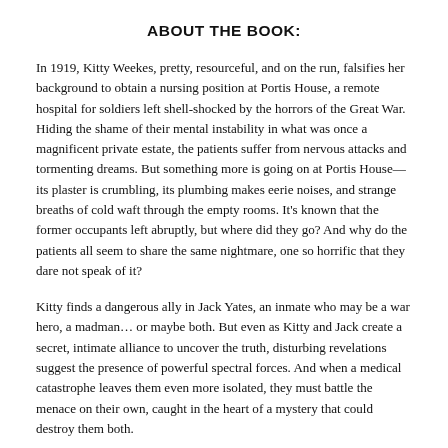ABOUT THE BOOK:
In 1919, Kitty Weekes, pretty, resourceful, and on the run, falsifies her background to obtain a nursing position at Portis House, a remote hospital for soldiers left shell-shocked by the horrors of the Great War. Hiding the shame of their mental instability in what was once a magnificent private estate, the patients suffer from nervous attacks and tormenting dreams. But something more is going on at Portis House—its plaster is crumbling, its plumbing makes eerie noises, and strange breaths of cold waft through the empty rooms. It's known that the former occupants left abruptly, but where did they go? And why do the patients all seem to share the same nightmare, one so horrific that they dare not speak of it?
Kitty finds a dangerous ally in Jack Yates, an inmate who may be a war hero, a madman… or maybe both. But even as Kitty and Jack create a secret, intimate alliance to uncover the truth, disturbing revelations suggest the presence of powerful spectral forces. And when a medical catastrophe leaves them even more isolated, they must battle the menace on their own, caught in the heart of a mystery that could destroy them both.